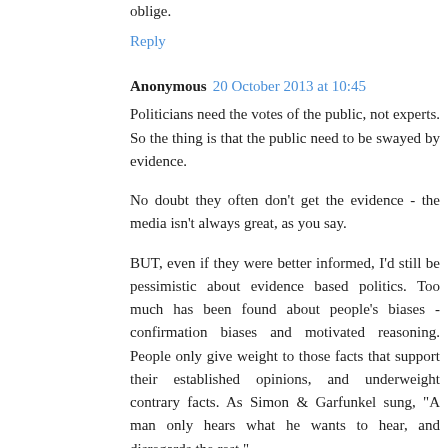oblige.
Reply
Anonymous 20 October 2013 at 10:45
Politicians need the votes of the public, not experts. So the thing is that the public need to be swayed by evidence.
No doubt they often don't get the evidence - the media isn't always great, as you say.
BUT, even if they were better informed, I'd still be pessimistic about evidence based politics. Too much has been found about people's biases - confirmation biases and motivated reasoning. People only give weight to those facts that support their established opinions, and underweight contrary facts. As Simon & Garfunkel sung, "A man only hears what he wants to hear, and disregards the rest."
For example, the Lee Ross and colleagues study from 1979, where supporters and opponents of the death penalty were given facts which gave support to both